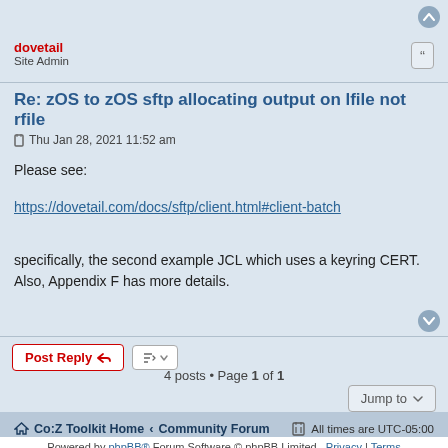dovetail
Site Admin
Re: zOS to zOS sftp allocating output on lfile not rfile
Thu Jan 28, 2021 11:52 am
Please see:
https://dovetail.com/docs/sftp/client.html#client-batch
specifically, the second example JCL which uses a keyring CERT. Also, Appendix F has more details.
4 posts • Page 1 of 1
Co:Z Toolkit Home  ‹  Community Forum    All times are UTC-05:00
Powered by phpBB® Forum Software © phpBB Limited
Privacy | Terms